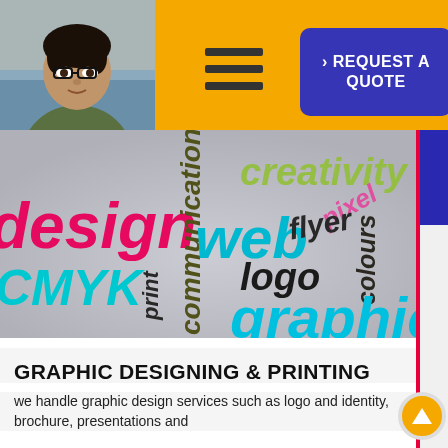[Figure (photo): Profile photo of a man wearing glasses, dark hair, wearing olive green shirt, against a light/wood background]
[Figure (other): Hamburger menu icon with three horizontal lines]
REQUEST A QUOTE
[Figure (photo): 3D word cloud illustration with graphic design related words: design, CMYK, communication, web, creativity, pixel, flyer, colours, logo, graphic - displayed in multiple bright colors (cyan, magenta, yellow, black, pink, green) on a gray/white surface]
GRAPHIC DESIGNING & PRINTING
we handle graphic design services such as logo and identity, brochure, presentations and